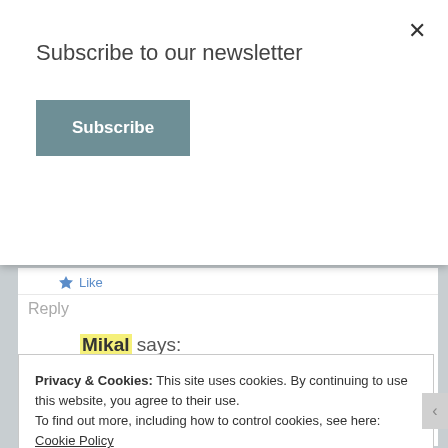Subscribe to our newsletter
Subscribe
Like
Reply
Mikal says:
January 5, 2016 at 1:02 am
Budget? What budget? You mean, there’s a budget I have to stick to? Wha??? *sigh* Yet another one I should join in on. 😘
Privacy & Cookies: This site uses cookies. By continuing to use this website, you agree to their use.
To find out more, including how to control cookies, see here: Cookie Policy
Close and accept